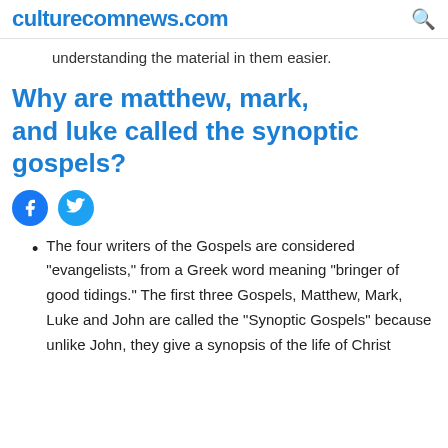culturecomnews.com
understanding the material in them easier.
Why are matthew, mark, and luke called the synoptic gospels?
The four writers of the Gospels are considered "evangelists," from a Greek word meaning "bringer of good tidings." The first three Gospels, Matthew, Mark, Luke and John are called the "Synoptic Gospels" because unlike John, they give a synopsis of the life of Christ